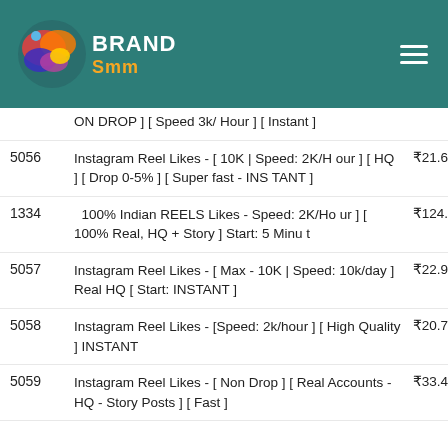BRAND Smm
| ID | Description | Price |
| --- | --- | --- |
|  | ON DROP ] [ Speed 3k/ Hour ] [ Instant ] |  |
| 5056 | Instagram Reel Likes - [ 10K | Speed: 2K/Hour ] [ HQ ] [ Drop 0-5% ] [ Super fast - INSTANT ] | ₹21.6 |
| 1334 | 100% Indian REELS Likes - Speed: 2K/Hour ] [ 100% Real, HQ + Story ] Start: 5 Minut | ₹124. |
| 5057 | Instagram Reel Likes - [ Max - 10K | Speed: 10k/day ] Real HQ [ Start: INSTANT ] | ₹22.9 |
| 5058 | Instagram Reel Likes - [Speed: 2k/hour ] [ High Quality ] INSTANT | ₹20.7 |
| 5059 | Instagram Reel Likes - [ Non Drop ] [ Real Accounts - HQ - Story Posts ] [ Fast ] | ₹33.4 |